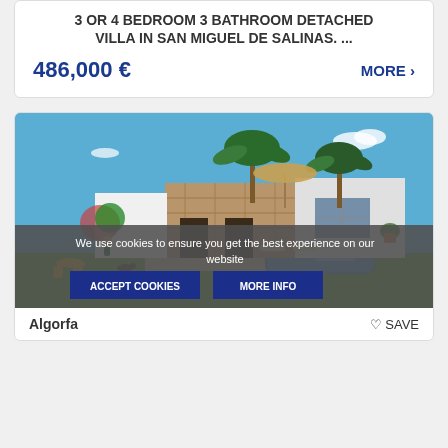3 OR 4 BEDROOM 3 BATHROOM DETACHED VILLA IN SAN MIGUEL DE SALINAS....
486,000 €
MORE ›
[Figure (photo): Rendered image of a modern detached villa with stone facade, palm trees, swimming pool, and outdoor seating area under blue sky]
We use cookies to ensure you get the best experience on our website
ACCEPT COOKIES
MORE INFO
Algorfa
SAVE